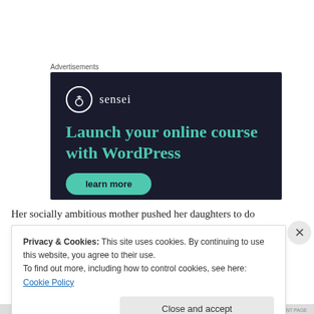Advertisements
[Figure (screenshot): Sensei advertisement banner with dark navy background. Shows Sensei logo (tree icon in circle) with brand name, headline text 'Launch your online course with WordPress' in teal/green color, and a teal button partially visible at bottom.]
Her socially ambitious mother pushed her daughters to do
Privacy & Cookies: This site uses cookies. By continuing to use this website, you agree to their use.
To find out more, including how to control cookies, see here: Cookie Policy
Close and accept